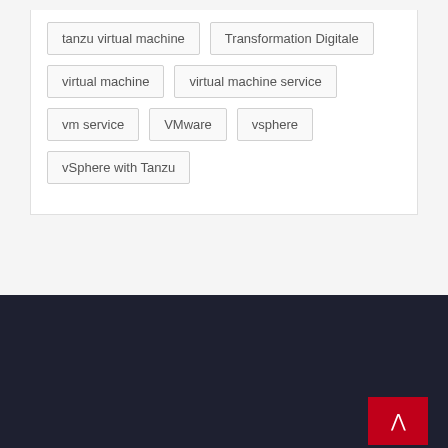tanzu virtual machine
Transformation Digitale
virtual machine
virtual machine service
vm service
VMware
vsphere
vSphere with Tanzu